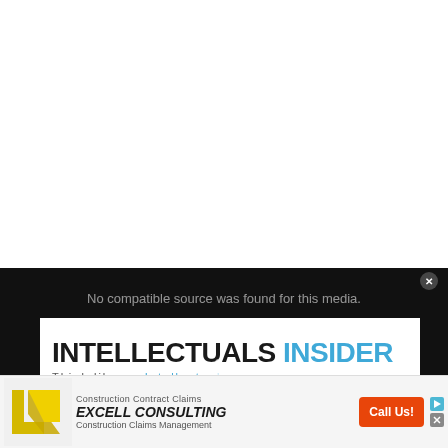[Figure (screenshot): White blank area at top of page, representing empty content space above a video player]
[Figure (screenshot): Dark video player showing 'No compatible source was found for this media.' message with a close button in the top-right corner and a large X dismiss button overlaid]
[Figure (logo): Intellectuals Insider logo overlay on video player: bold dark text 'INTELLECTUALS' followed by blue 'INSIDER', tagline 'Think like an Intellectual' in spaced serif style]
[Figure (screenshot): Advertisement banner at bottom: Excell Consulting ad with yellow angular logo, 'Construction Contract Claims', 'EXCELL CONSULTING' italic bold, 'Construction Claims Management', orange 'Call Us!' CTA button, and ad attribution icons]